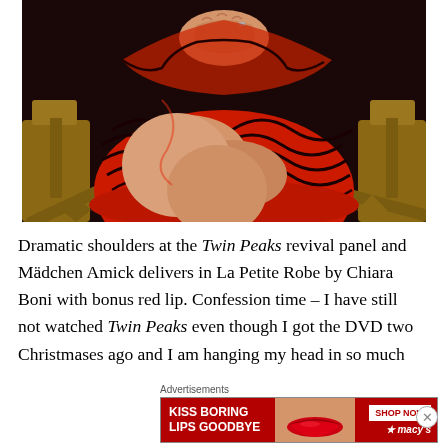[Figure (photo): Close-up photo of a person seated in a director's chair wearing a red and black patterned dress, hands clasped together, legs crossed. Wooden director's chair arms visible on sides.]
Dramatic shoulders at the Twin Peaks revival panel and Mädchen Amick delivers in La Petite Robe by Chiara Boni with bonus red lip. Confession time – I have still not watched Twin Peaks even though I got the DVD two Christmases ago and I am hanging my head in so much
Advertisements
[Figure (infographic): Macy's advertisement banner — red background with white text 'KISS BORING LIPS GOODBYE', a SHOP NOW button, Macy's star logo, and a woman's face with red lips.]